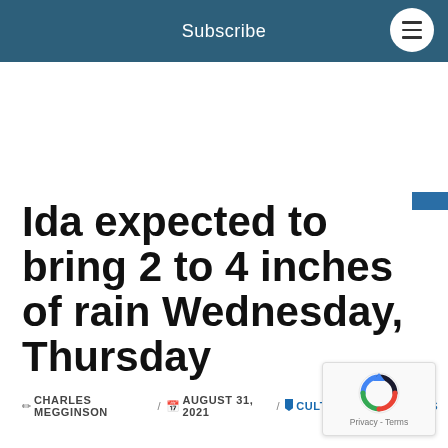Subscribe
Ida expected to bring 2 to 4 inches of rain Wednesday, Thursday
CHARLES MEGGINSON / AUGUST 31, 2021 / CULTURE, HEADLINES
[Figure (logo): reCAPTCHA badge with Privacy - Terms text]